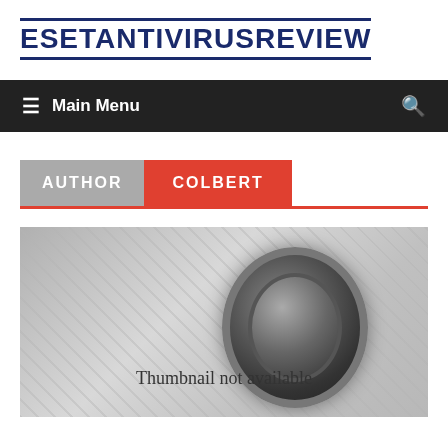ESETANTIVIRUSREVIEW
≡ Main Menu
AUTHOR COLBERT
[Figure (photo): Thumbnail not available — placeholder image showing a camera lens on scattered photographs background]